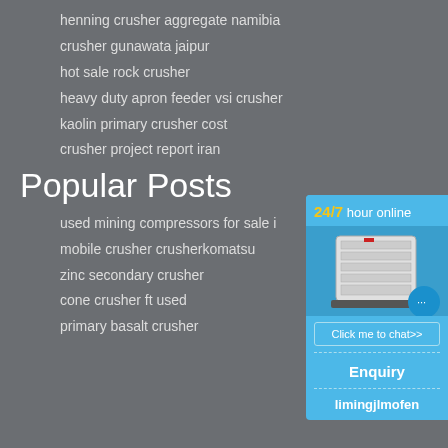henning crusher aggregate namibia
crusher gunawata jaipur
hot sale rock crusher
heavy duty apron feeder vsi crusher
kaolin primary crusher cost
crusher project report iran
Popular Posts
used mining compressors for sale i
mobile crusher crusherkomatsu
zinc secondary crusher
cone crusher ft used
primary basalt crusher
[Figure (infographic): Blue sidebar widget with '24/7 hour online' text, industrial crusher machine image, chat bubble icon with dots, 'Click me to chat>>' button, 'Enquiry' text, and 'limingjlmofen' text]